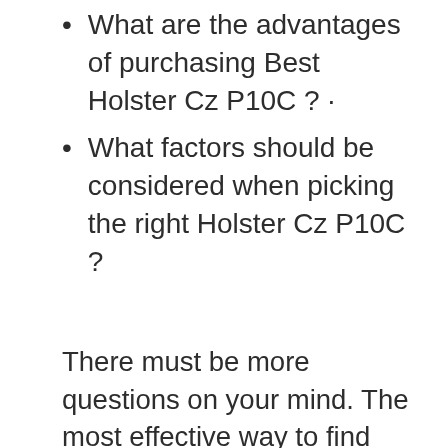What are the advantages of purchasing Best Holster Cz P10C ? ·
What factors should be considered when picking the right Holster Cz P10C ?
There must be more questions on your mind. The most effective way to find out what your answers are is to do your research and talk with someone who knows what they're talking about. Nothing beats asking an expert! For this type of information, potential sources include buying guides, word-of-mouth, rating websites, testimonials from previous customers who have purchased these products; and online forums devoted solely to discussing topics related to Best